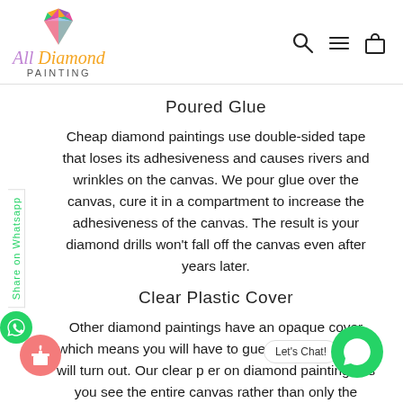[Figure (logo): All Diamond Painting logo with colorful diamond gem icon above stylized italic text 'All Diamond Painting']
Poured Glue
Cheap diamond paintings use double-sided tape that loses its adhesiveness and causes rivers and wrinkles on the canvas. We pour glue over the canvas, cure it in a compartment to increase the adhesiveness of the canvas. The result is your diamond drills won't fall off the canvas even after years later.
Clear Plastic Cover
Other diamond paintings have an opaque cover which means you will have to guess how the image will turn out. Our clear plastic cover on diamond painting lets you see the entire canvas rather than only the section you are